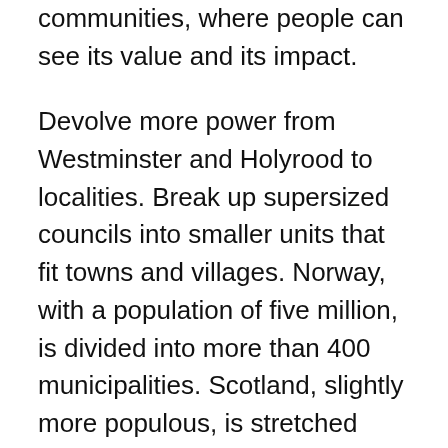communities, where people can see its value and its impact.
Devolve more power from Westminster and Holyrood to localities. Break up supersized councils into smaller units that fit towns and villages. Norway, with a population of five million, is divided into more than 400 municipalities. Scotland, slightly more populous, is stretched between 32 local authorities. A system where you might bump into the politician responsible for your children's school while out walking the dog has to be more trusted and respected than what we have now. And so on up the echelons of government.
The political centre is a difficult beast to love, prone to smugness and self-assurance. Long disdainful of the fringes, it has only latterly come to realise that it is now on the margins and the extremists and "anti-